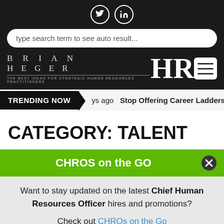[Figure (logo): Brian Heger HR logo with BRIAN HEGER text and large HR letters, tagline: The best ideas for strategic Human Resources practitioners]
type search term to see auto result...
TRENDING NOW   ys ago  Stop Offering Career Ladders.
CATEGORY: TALENT
CHROS on the GO
Want to stay updated on the latest Chief Human Resources Officer hires and promotions? Check out CHROs on the Go